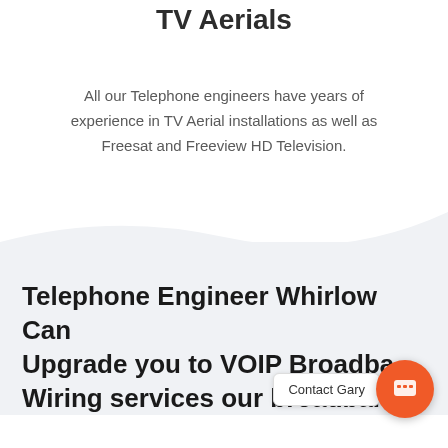TV Aerials
All our Telephone engineers have years of experience in TV Aerial installations as well as Freesat and Freeview HD Television.
Telephone Engineer Whirlow Can Upgrade you to VOIP Broadband Wiring services our broadband